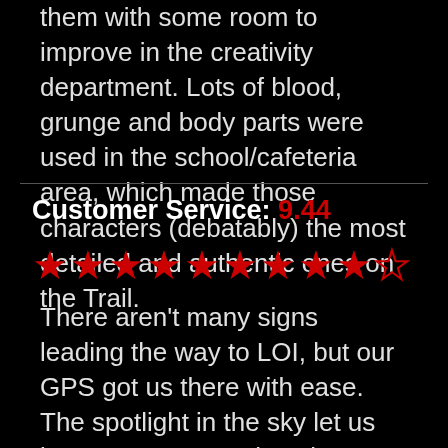them with some room to improve in the creativity department. Lots of blood, grunge and body parts were used in the school/cafeteria area, which made those characters (debatably) the most detailed and authentic ones on the Trail.
Customer Service: 9.44
[Figure (other): Star rating: 9 and a half stars out of 10, shown as red filled stars with one empty/outline star]
There aren't many signs leading the way to LOI, but our GPS got us there with ease. The spotlight in the sky let us know we were getting close and the large 'Land of Illusion' sign by the road confirmed we